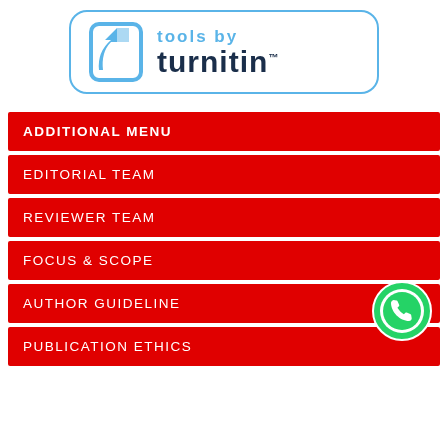[Figure (logo): Turnitin 'Tools by turnitin' logo in a rounded rectangle border]
ADDITIONAL MENU
EDITORIAL TEAM
REVIEWER TEAM
FOCUS & SCOPE
AUTHOR GUIDELINE
PUBLICATION ETHICS